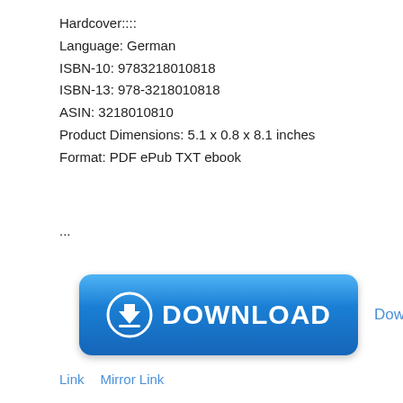Hardcover::::
Language: German
ISBN-10: 9783218010818
ISBN-13: 978-3218010818
ASIN: 3218010810
Product Dimensions: 5.1 x 0.8 x 8.1 inches
Format: PDF ePub TXT ebook
...
[Figure (other): Blue download button with download arrow icon and text DOWNLOAD]
Download
Link   Mirror Link